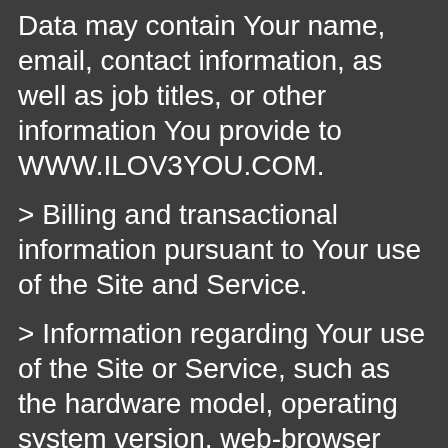Data may contain Your name, email, contact information, as well as job titles, or other information You provide to WWW.ILOV3YOU.COM.
> Billing and transactional information pursuant to Your use of the Site and Service.
> Information regarding Your use of the Site or Service, such as the hardware model, operating system version, web-browser software and Your Internet Protocol (IP) address/device identifier.
> Statistics and information on Your use of the Site and Service.